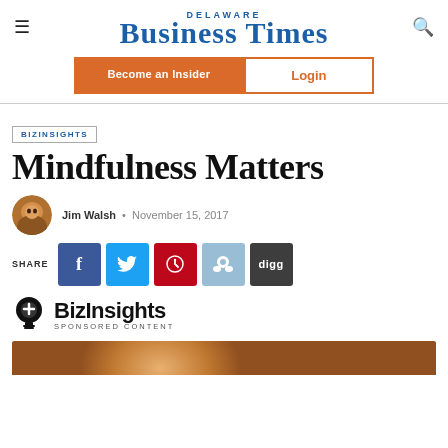Delaware Business Times
[Figure (logo): Delaware Business Times logo with hamburger menu and search icon]
[Figure (infographic): Become an Insider orange button and Login outlined button]
BIZINSIGHTS
Mindfulness Matters
Jim Walsh • November 15, 2017
[Figure (infographic): Social share buttons: Facebook, Twitter, Pinterest, Reddit, Digg]
[Figure (logo): BizInsights Sponsored Content logo with lightbulb icon]
[Figure (photo): Author headshot photo at bottom of page]